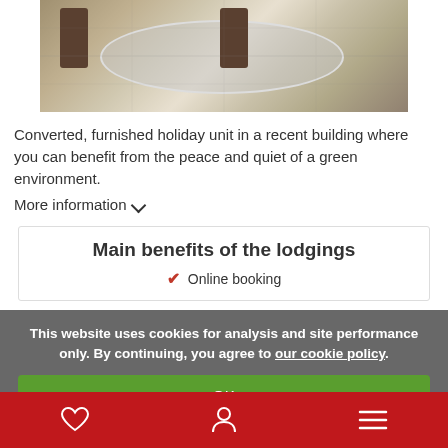[Figure (photo): Interior photo of a dining room with a table covered in a white lace tablecloth and dark wooden chairs]
Converted, furnished holiday unit in a recent building where you can benefit from the peace and quiet of a green environment.
More information ∨
Main benefits of the lodgings
✓ Online booking
This website uses cookies for analysis and site performance only. By continuing, you agree to our cookie policy.
OK